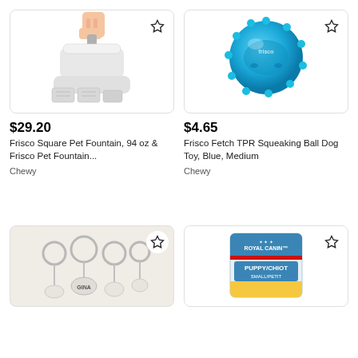[Figure (photo): Frisco Square Pet Fountain product photo showing white fountain with hand and filter packs]
$29.20
Frisco Square Pet Fountain, 94 oz & Frisco Pet Fountain...
Chewy
[Figure (photo): Frisco Fetch TPR Squeaking Ball Dog Toy, Blue, Medium]
$4.65
Frisco Fetch TPR Squeaking Ball Dog Toy, Blue, Medium
Chewy
[Figure (photo): Pet ID key rings on beige background with name tags including GINA]
[Figure (photo): Royal Canin Puppy/Chiot Small/Petit dog food bag]